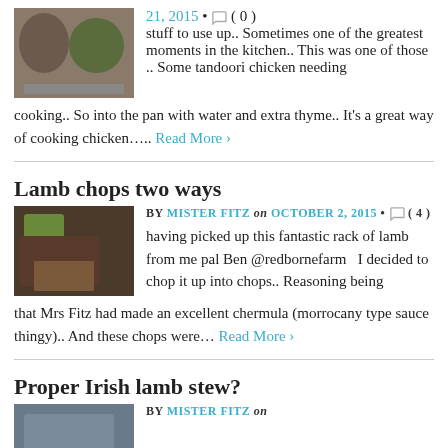21, 2015 • ( 0 ) stuff to use up.. Sometimes one of the greatest moments in the kitchen.. This was one of those .. Some tandoori chicken needing cooking.. So into the pan with water and extra thyme.. It's a great way of cooking chicken….. Read More ›
Lamb chops two ways
[Figure (photo): Photo of lamb chops with peas and roasted potatoes on a plate]
BY MISTER FITZ on OCTOBER 2, 2015 • ( 4 ) having picked up this fantastic rack of lamb from me pal Ben @redbornefarm I decided to chop it up into chops.. Reasoning being that Mrs Fitz had made an excellent chermula (morrocany type sauce thingy).. And these chops were… Read More ›
Proper Irish lamb stew?
BY MISTER FITZ on